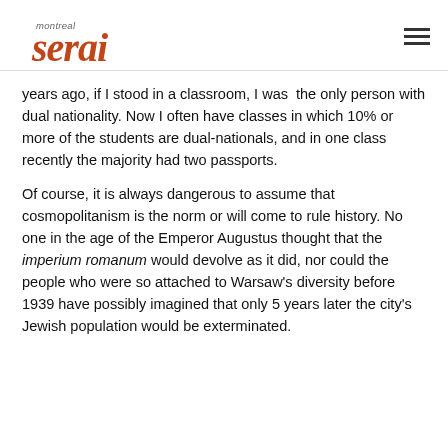montreal serai
years ago, if I stood in a classroom, I was the only person with dual nationality. Now I often have classes in which 10% or more of the students are dual-nationals, and in one class recently the majority had two passports.
Of course, it is always dangerous to assume that cosmopolitanism is the norm or will come to rule history. No one in the age of the Emperor Augustus thought that the imperium romanum would devolve as it did, nor could the people who were so attached to Warsaw's diversity before 1939 have possibly imagined that only 5 years later the city's Jewish population would be exterminated.